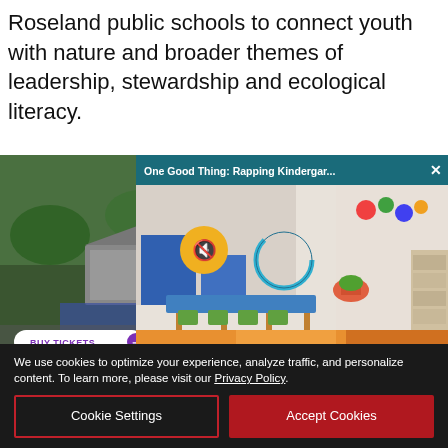Roseland public schools to connect youth with nature and broader themes of leadership, stewardship and ecological literacy.
[Figure (photo): Aerial view of an outdoor amphitheater venue surrounded by trees, with a 'BUY TICKETS' button overlay]
[Figure (screenshot): Video player popup titled 'One Good Thing: Rapping Kindergar...' showing a colorful kindergarten classroom with blue tables, green and orange chairs, a mute icon, and a progress ring]
[Figure (photo): Advertisement for 'Summer at the Green 2022 - Weill Hall + Lawn' with large bold text on a dark blue background]
We use cookies to optimize your experience, analyze traffic, and personalize content. To learn more, please visit our Privacy Policy.
Cookie Settings
Accept Cookies